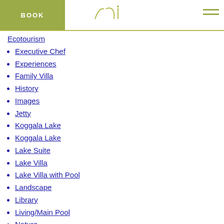BOOK | tri (logo) | menu
Ecotourism
Executive Chef
Experiences
Family Villa
History
Images
Jetty
Koggala Lake
Koggala Lake
Lake Suite
Lake Villa
Lake Villa with Pool
Landscape
Library
Living/Main Pool
Nature
online
People
Press & awards
print
Quantum Yoga